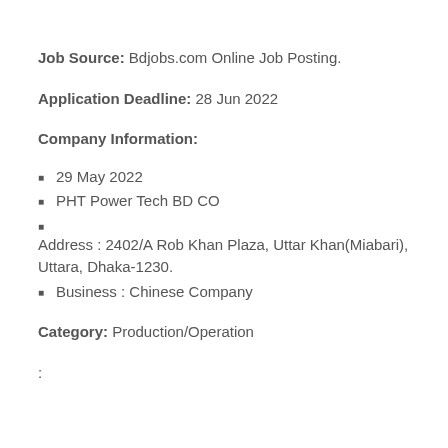Job Source: Bdjobs.com Online Job Posting.
Application Deadline: 28 Jun 2022
Company Information:
29 May 2022
PHT Power Tech BD CO
Address : 2402/A Rob Khan Plaza, Uttar Khan(Miabari), Uttara, Dhaka-1230.
Business : Chinese Company
Category: Production/Operation
: